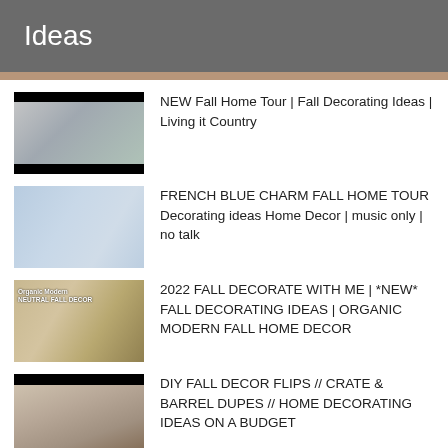Ideas
NEW Fall Home Tour | Fall Decorating Ideas | Living it Country
FRENCH BLUE CHARM FALL HOME TOUR Decorating ideas Home Decor | music only | no talk
2022 FALL DECORATE WITH ME | *NEW* FALL DECORATING IDEAS | ORGANIC MODERN FALL HOME DECOR
DIY FALL DECOR FLIPS // CRATE & BARREL DUPES // HOME DECORATING IDEAS ON A BUDGET